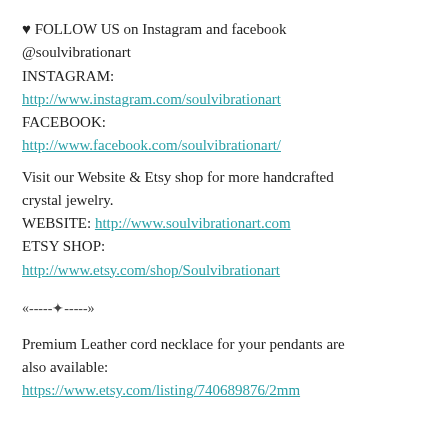♥ FOLLOW US on Instagram and facebook @soulvibrationart
INSTAGRAM:
http://www.instagram.com/soulvibrationart
FACEBOOK:
http://www.facebook.com/soulvibrationart/
Visit our Website & Etsy shop for more handcrafted crystal jewelry.
WEBSITE: http://www.soulvibrationart.com
ETSY SHOP:
http://www.etsy.com/shop/Soulvibrationart
«-----✦-----»
Premium Leather cord necklace for your pendants are also available:
https://www.etsy.com/listing/740689876/2mm